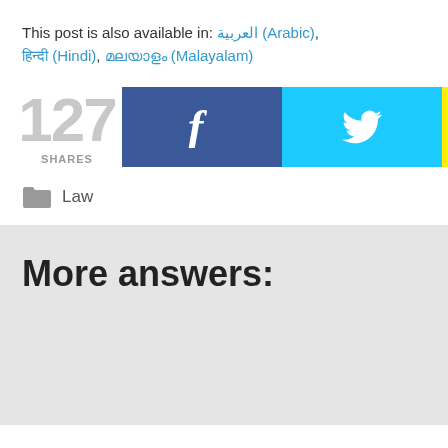This post is also available in: العربية (Arabic), हिन्दी (Hindi), മലയാളം (Malayalam)
[Figure (infographic): Social share bar showing 127 SHARES with Facebook, Twitter, and Email share buttons]
Law
More answers: